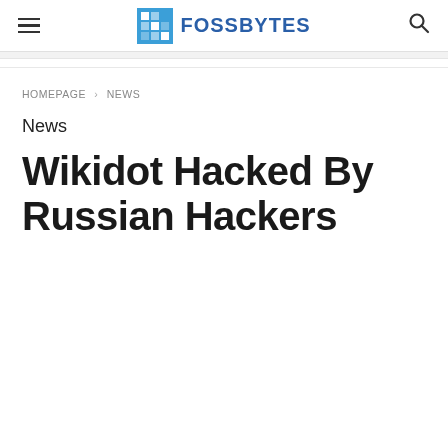FOSSBYTES
HOMEPAGE > NEWS
News
Wikidot Hacked By Russian Hackers